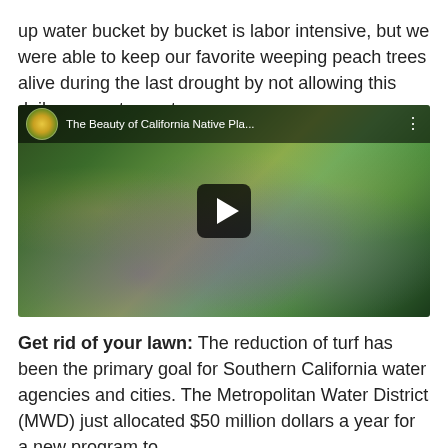up water bucket by bucket is labor intensive, but we were able to keep our favorite weeping peach trees alive during the last drought by not allowing this daily use go to waste.
[Figure (screenshot): YouTube video thumbnail showing California native plants with purple flowers and green stems. Video title reads 'The Beauty of California Native Pla...' with a channel icon and play button overlay.]
Get rid of your lawn: The reduction of turf has been the primary goal for Southern California water agencies and cities. The Metropolitan Water District (MWD) just allocated $50 million dollars a year for a new program to